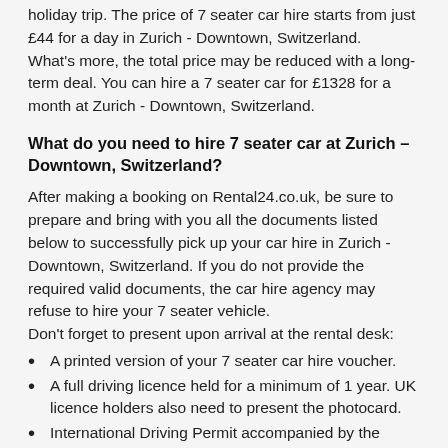holiday trip. The price of 7 seater car hire starts from just £44 for a day in Zurich - Downtown, Switzerland.
What's more, the total price may be reduced with a long-term deal. You can hire a 7 seater car for £1328 for a month at Zurich - Downtown, Switzerland.
What do you need to hire 7 seater car at Zurich – Downtown, Switzerland?
After making a booking on Rental24.co.uk, be sure to prepare and bring with you all the documents listed below to successfully pick up your car hire in Zurich - Downtown, Switzerland. If you do not provide the required valid documents, the car hire agency may refuse to hire your 7 seater vehicle.
Don't forget to present upon arrival at the rental desk:
A printed version of your 7 seater car hire voucher.
A full driving licence held for a minimum of 1 year. UK licence holders also need to present the photocard.
International Driving Permit accompanied by the original domestic licence is constantly required. Read rental